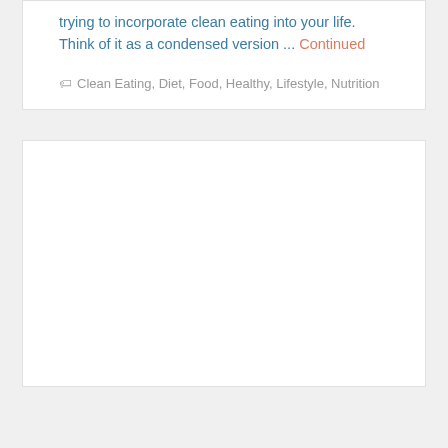trying to incorporate clean eating into your life. Think of it as a condensed version ... Continued
Clean Eating, Diet, Food, Healthy, Lifestyle, Nutrition